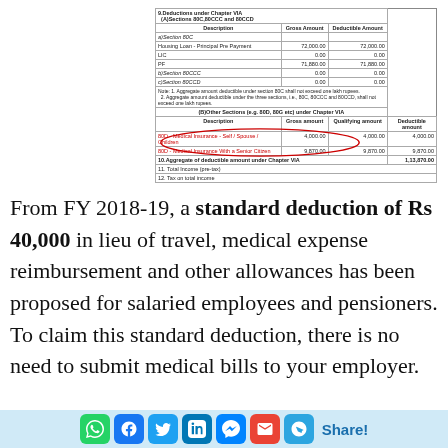[Figure (table-as-image): Deductions under Chapter VIA table showing sections 80C, 80CCC and 80CCD with gross amount and deductible amount columns, and other sections 80D Medical Insurance rows with an oval highlight around the 80D entries]
From FY 2018-19, a standard deduction of Rs 40,000 in lieu of travel, medical expense reimbursement and other allowances has been proposed for salaried employees and pensioners. To claim this standard deduction, there is no need to submit medical bills to your employer.